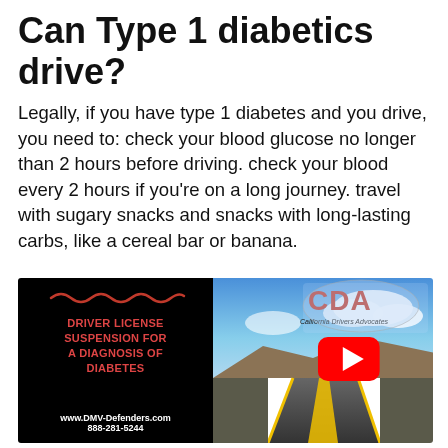Can Type 1 diabetics drive?
Legally, if you have type 1 diabetes and you drive, you need to: check your blood glucose no longer than 2 hours before driving. check your blood every 2 hours if you're on a long journey. travel with sugary snacks and snacks with long-lasting carbs, like a cereal bar or banana.
[Figure (screenshot): Video thumbnail split: left half black background with red squiggle, red text 'DRIVER LICENSE SUSPENSION FOR A DIAGNOSIS OF DIABETES', white text 'www.DMV-Defenders.com 888-281-5244'; right half shows road photo with CDA California Drivers Advocates logo in sky; YouTube play button overlaid in center.]